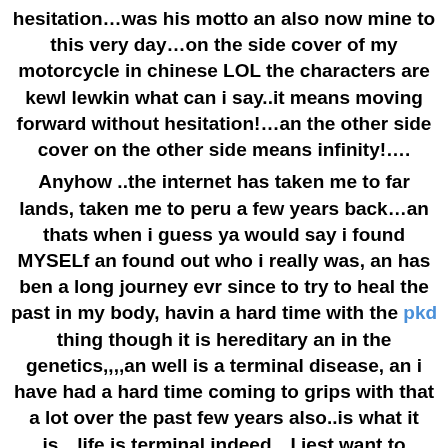hesitation…was his motto an also now mine to this very day…on the side cover of my motorcycle in chinese LOL the characters are kewl lewkin what can i say..it means moving forward without hesitation!…an the other side cover on the other side means infinity!….
Anyhow ..the internet has taken me to far lands, taken me to peru a few years back…an thats when i guess ya would say i found MYSELf an found out who i really was, an has ben a long journey evr since to try to heal the past in my body, havin a hard time with the pkd thing though it is hereditary an in the genetics,,,,an well is a terminal disease, an i have had a hard time coming to grips with that a lot over the past few years also..is what it is…life is terminal indeed…I jest want to extend mine a bit! Is all!